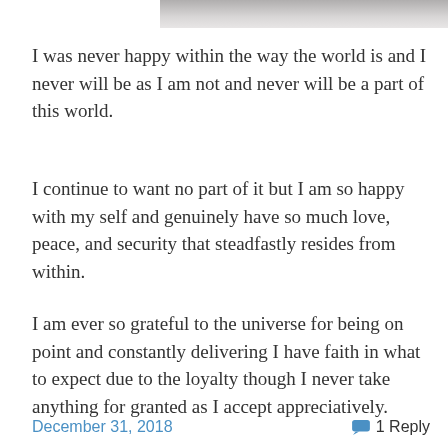[Figure (photo): Partial photo visible at the top of the page, cropped, showing a dark and light subject]
I was never happy within the way the world is and I never will be as I am not and never will be a part of this world.
I continue to want no part of it but I am so happy with my self and genuinely have so much love, peace, and security that steadfastly resides from within.
I am ever so grateful to the universe for being on point and constantly delivering I have faith in what to expect due to the loyalty though I never take anything for granted as I accept appreciatively.
What is around me you never cease to amaze me, truly awesome! – latoya lawrence
December 31, 2018  1 Reply